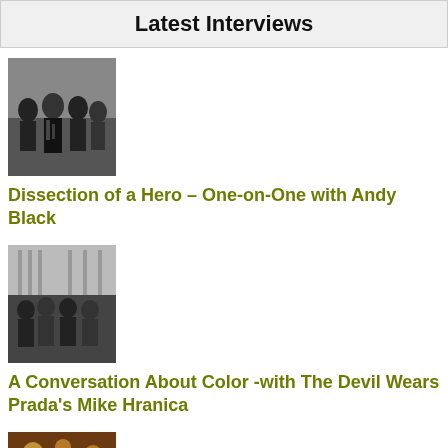Latest Interviews
[Figure (photo): Band photo of Andy Black and band members in dark clothing]
Dissection of a Hero – One-on-One with Andy Black
[Figure (photo): Black and white photo of band members, The Devil Wears Prada, looking upward]
A Conversation About Color -with The Devil Wears Prada's Mike Hranica
[Figure (photo): Band photo in warm-lit indoor venue setting]